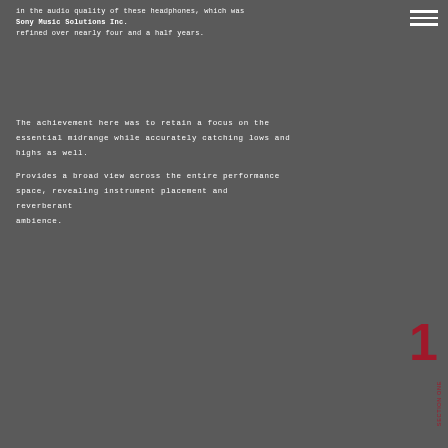in the audio quality of these headphones, which was Sony Music Solutions Inc. refined over nearly four and a half years.
The achievement here was to retain a focus on the essential midrange while accurately catching lows and highs as well.
Provides a broad view across the entire performance space, revealing instrument placement and reverberant ambience.
1